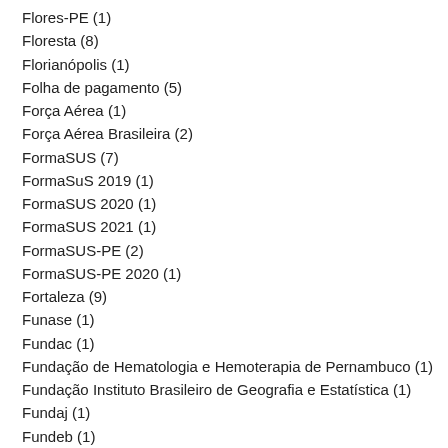Flores-PE (1)
Floresta (8)
Florianópolis (1)
Folha de pagamento (5)
Força Aérea (1)
Força Aérea Brasileira (2)
FormaSUS (7)
FormaSuS 2019 (1)
FormaSUS 2020 (1)
FormaSUS 2021 (1)
FormaSUS-PE (2)
FormaSUS-PE 2020 (1)
Fortaleza (9)
Funase (1)
Fundac (1)
Fundação de Hematologia e Hemoterapia de Pernambuco (1)
Fundação Instituto Brasileiro de Geografia e Estatística (1)
Fundaj (1)
Fundeb (1)
Futebol (50)
GAAP (1)
Gameleira (3)